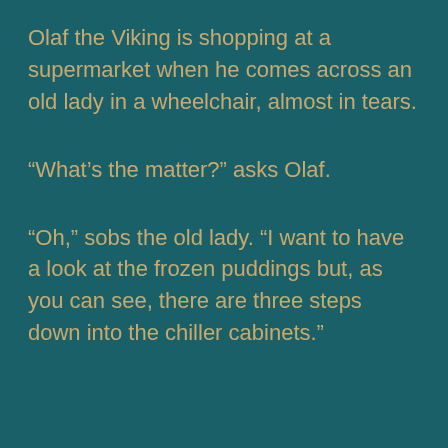Olaf the Viking is shopping at a supermarket when he comes across an old lady in a wheelchair, almost in tears.
“What’s the matter?” asks Olaf.
“Oh,” sobs the old lady. “I want to have a look at the frozen puddings but, as you can see, there are three steps down into the chiller cabinets.”